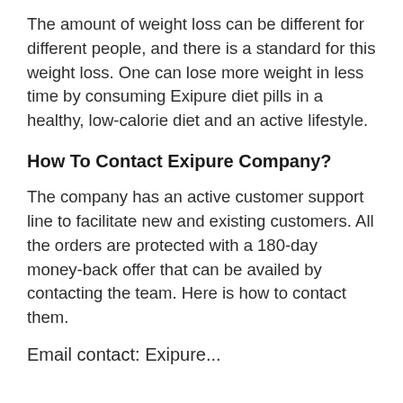The amount of weight loss can be different for different people, and there is a standard for this weight loss. One can lose more weight in less time by consuming Exipure diet pills in a healthy, low-calorie diet and an active lifestyle.
How To Contact Exipure Company?
The company has an active customer support line to facilitate new and existing customers. All the orders are protected with a 180-day money-back offer that can be availed by contacting the team. Here is how to contact them.
Email contact: Exipure...